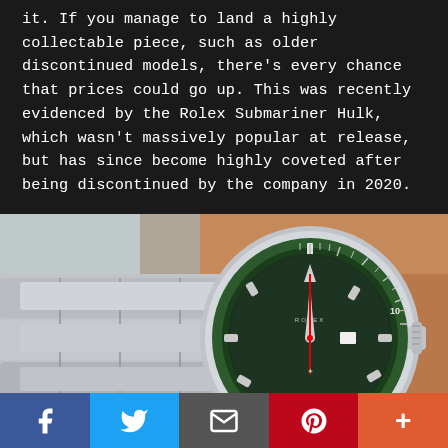it. If you manage to land a highly collectable piece, such as older discontinued models, there's every chance that prices could go up. This was recently evidenced by the Rolex Submariner Hulk, which wasn't massively popular at release, but has since become highly coveted after being discontinued by the company in 2020.
[Figure (photo): Close-up photo of a Rolex Submariner Hulk watch with green bezel and green dial, worn on a wrist, with stainless steel Oyster bracelet visible.]
We use cookies to make your experience better. To comply with the new e-Privacy directive, we need to ask for your consent to set the cookies. Learn more
Social share bar: Facebook, Twitter, Email, Pinterest, More